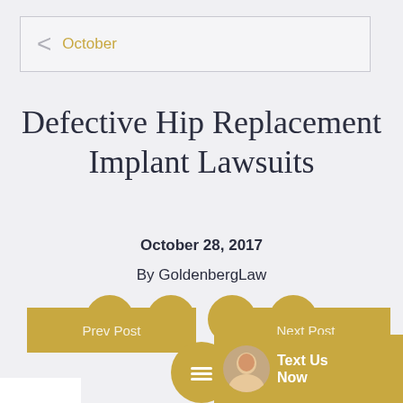October
Defective Hip Replacement Implant Lawsuits
October 28, 2017
By GoldenbergLaw
[Figure (infographic): Four gold circular social media icons: Facebook (f), Twitter (bird), Pinterest (p), LinkedIn (in)]
Prev Post
Next Post
[Figure (infographic): Gold chat bubble icon with three horizontal white lines]
[Figure (infographic): Gold rectangle widget with circular avatar photo and Text Us Now label]